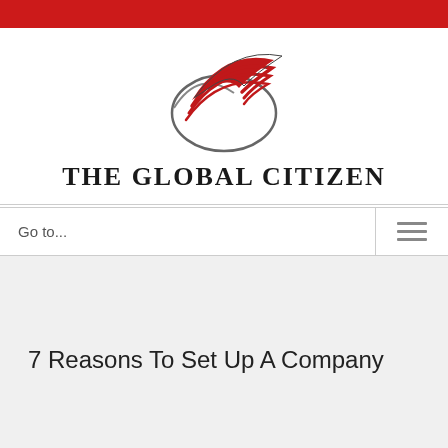[Figure (logo): The Global Citizen logo with a swoosh/wing graphic in red and grey, and the text 'THE GLOBAL CITIZEN' below it]
Go to...
7 Reasons To Set Up A Company